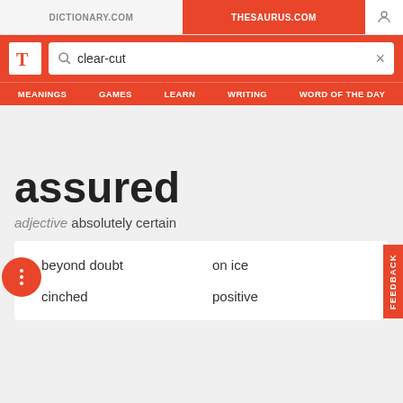DICTIONARY.COM | THESAURUS.COM
[Figure (screenshot): Thesaurus.com website header with logo, search bar containing 'clear-cut', and navigation menu with MEANINGS, GAMES, LEARN, WRITING, WORD OF THE DAY]
assured
adjective absolutely certain
beyond doubt
on ice
cinched
positive